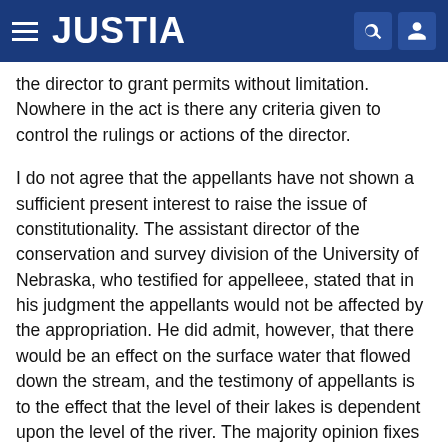JUSTIA
the director to grant permits without limitation. Nowhere in the act is there any criteria given to control the rulings or actions of the director.
I do not agree that the appellants have not shown a sufficient present interest to raise the issue of constitutionality. The assistant director of the conservation and survey division of the University of Nebraska, who testified for appelleee, stated that in his judgment the appellants would not be affected by the appropriation. He did admit, however, that there would be an effect on the surface water that flowed down the stream, and the testimony of appellants is to the effect that the level of their lakes is dependent upon the level of the river. The majority opinion fixes this lowering of the level of the river at not to exceed 1.1 inches. If this were true, the effect would be minimal.